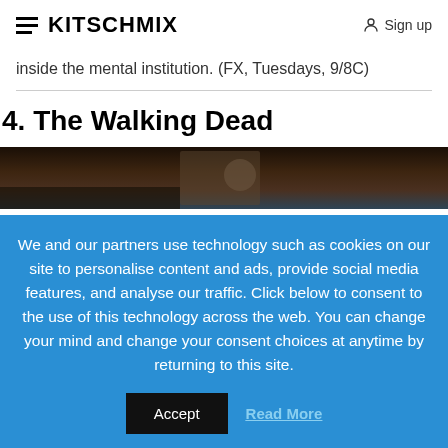KITSCHMIX | Sign up
inside the mental institution. (FX, Tuesdays, 9/8C)
4. The Walking Dead
[Figure (photo): Dark atmospheric image, likely a scene from The Walking Dead TV show]
We and our partners use technology such as cookies on our site to personalise content and ads, provide social media features, and analyse our traffic. Click below to consent to the use of this technology across the web. You can change your mind and change your consent choices at anytime by returning to this site.
Accept | Read More